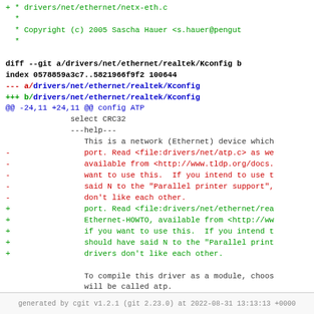git diff output showing changes to drivers/net/ethernet/realtek/Kconfig
generated by cgit v1.2.1 (git 2.23.0) at 2022-08-31 13:13:13 +0000